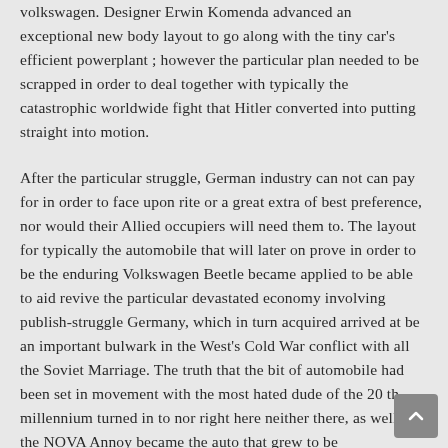volkswagen. Designer Erwin Komenda advanced an exceptional new body layout to go along with the tiny car's efficient powerplant ; however the particular plan needed to be scrapped in order to deal together with typically the catastrophic worldwide fight that Hitler converted into putting straight into motion.
After the particular struggle, German industry can not can pay for in order to face upon rite or a great extra of best preference, nor would their Allied occupiers will need them to. The layout for typically the automobile that will later on prove in order to be the enduring Volkswagen Beetle became applied to be able to aid revive the particular devastated economy involving publish-struggle Germany, which in turn acquired arrived at be an important bulwark in the West's Cold War conflict with all the Soviet Marriage. The truth that the bit of automobile had been set in movement with the most hated dude of the 20 th millennium turned in to nor right here neither there, as well as the NOVA Annoy became the auto that grew to be